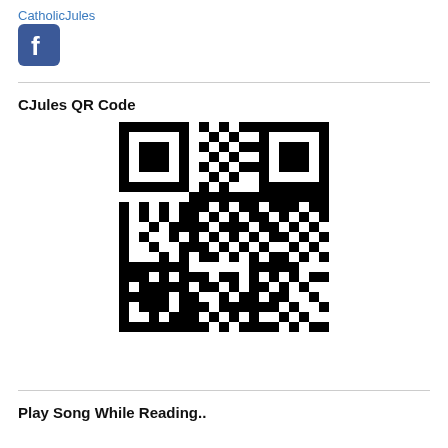CatholicJules
[Figure (logo): Facebook logo icon — blue square with white 'f']
CJules QR Code
[Figure (other): QR code for CatholicJules]
Play Song While Reading..